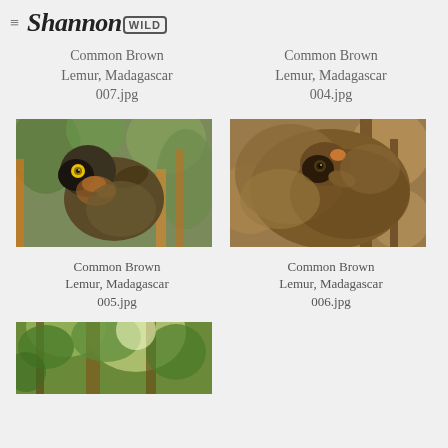Shannon WILD
Common Brown Lemur, Madagascar 007.jpg
Common Brown Lemur, Madagascar 004.jpg
[Figure (photo): Common Brown Lemur perched in trees, Madagascar - close-up side view with yellow eyes visible]
[Figure (photo): Common Brown Lemur with baby clinging, Madagascar - brown furry lemur photographed from below]
Common Brown Lemur, Madagascar 005.jpg
Common Brown Lemur, Madagascar 006.jpg
[Figure (photo): Partial view of Common Brown Lemur in green tree canopy, Madagascar]